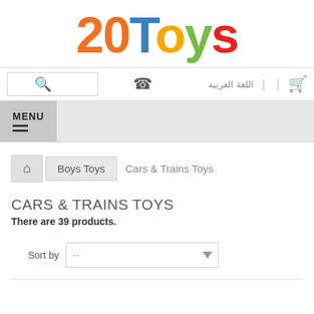[Figure (logo): 20Toys logo with colorful letters: '20' in orange, 'T' in blue, 'o' in yellow, 'y' in green, 's' in red]
[Figure (screenshot): Website toolbar with search box, search icon, phone icon, Arabic text 'اللغة العربية', separators, and green shopping cart icon]
[Figure (screenshot): Menu bar with hamburger menu button labeled MENU]
[Figure (screenshot): Breadcrumb navigation: home icon, Boys Toys, Cars & Trains Toys]
CARS & TRAINS TOYS
There are 39 products.
[Figure (screenshot): Sort by dropdown control with '--' placeholder and dropdown arrow]